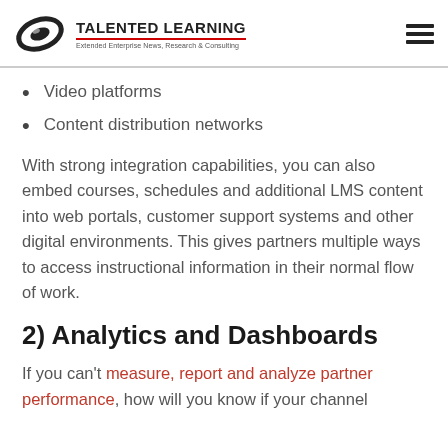TALENTED LEARNING — Extended Enterprise News, Research & Consulting
Video platforms
Content distribution networks
With strong integration capabilities, you can also embed courses, schedules and additional LMS content into web portals, customer support systems and other digital environments. This gives partners multiple ways to access instructional information in their normal flow of work.
2) Analytics and Dashboards
If you can't measure, report and analyze partner performance, how will you know if your channel